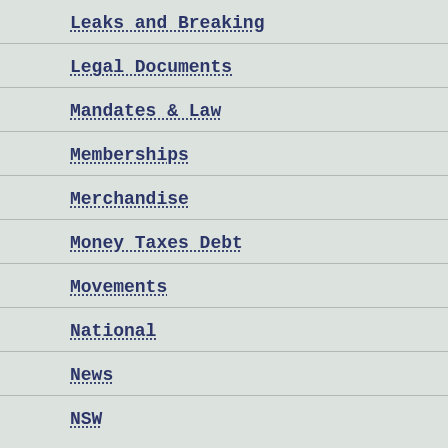Leaks and Breaking
Legal Documents
Mandates & Law
Memberships
Merchandise
Money Taxes Debt
Movements
National
News
NSW